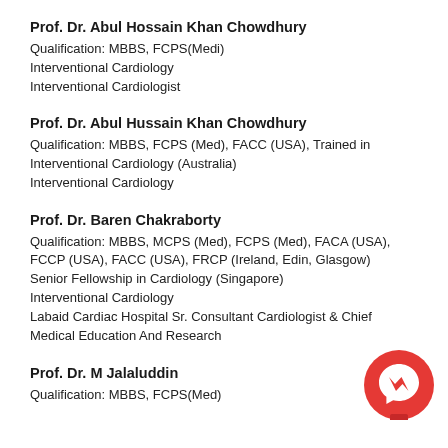Prof. Dr. Abul Hossain Khan Chowdhury
Qualification: MBBS, FCPS(Medi)
Interventional Cardiology
Interventional Cardiologist
Prof. Dr. Abul Hussain Khan Chowdhury
Qualification: MBBS, FCPS (Med), FACC (USA), Trained in Interventional Cardiology (Australia)
Interventional Cardiology
Prof. Dr. Baren Chakraborty
Qualification: MBBS, MCPS (Med), FCPS (Med), FACA (USA), FCCP (USA), FACC (USA), FRCP (Ireland, Edin, Glasgow)
Senior Fellowship in Cardiology (Singapore)
Interventional Cardiology
Labaid Cardiac Hospital Sr. Consultant Cardiologist & Chief Medical Education And Research
Prof. Dr. M Jalaluddin
Qualification: MBBS, FCPS(Med)